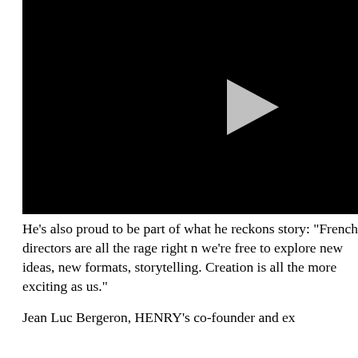[Figure (screenshot): Black video player frame with a gray play button triangle in the upper-right area]
He's also proud to be part of what he reckons story: "French directors are all the rage right n we're free to explore new ideas, new formats, storytelling. Creation is all the more exciting as us."
Jean Luc Bergeron, HENRY's co-founder and ex